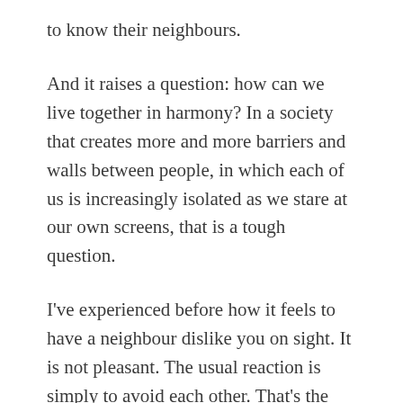to know their neighbours.
And it raises a question: how can we live together in harmony? In a society that creates more and more barriers and walls between people, in which each of us is increasingly isolated as we stare at our own screens, that is a tough question.
I've experienced before how it feels to have a neighbour dislike you on sight. It is not pleasant. The usual reaction is simply to avoid each other. That's the easy answer. Pretend the other person doesn't exist. Go about your business. Until an emergency happens.